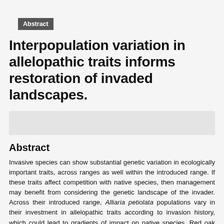Abstract
Interpopulation variation in allelopathic traits informs restoration of invaded landscapes.
[Figure (other): Gray placeholder bar, likely representing an author affiliations or image strip area]
Abstract
Invasive species can show substantial genetic variation in ecologically important traits, across ranges as well within the introduced range. If these traits affect competition with native species, then management may benefit from considering the genetic landscape of the invader. Across their introduced range, Alliaria petiolata populations vary in their investment in allelopathic traits according to invasion history, which could lead to gradients of impact on native species. Red oak (Quercus rubra) seedlings were transplanted into eight A. petiolata-invaded sites that varied in their invasion history and allelochemical concentrations. At each site, an invader removal treatment was